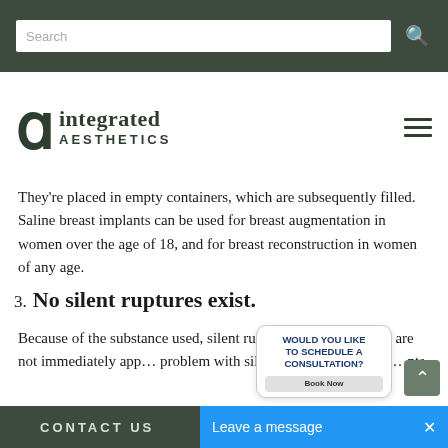Search bar with Integrated Aesthetics logo and navigation: PLASTIC SURGERY, DERMATOLOGY, INJECTABLES, LASERS, TIGHTENI...
They're placed in empty containers, which are subsequently filled. Saline breast implants can be used for breast augmentation in women over the age of 18, and for breast reconstruction in women of any age.
3. No silent ruptures exist.
Because of the substance used, silent ruptures, or ruptures that are not immediately app... problem with silicone implants. With s... nts
CONTACT US | Leave a message